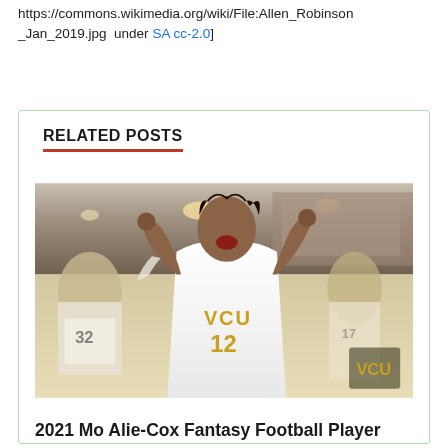https://commons.wikimedia.org/wiki/File:Allen_Robinson_Jan_2019.jpg under SA cc-2.0]
RELATED POSTS
[Figure (photo): Basketball player wearing VCU #12 jersey celebrating with fist raised, surrounded by teammates in a basketball arena]
2021 Mo Alie-Cox Fantasy Football Player